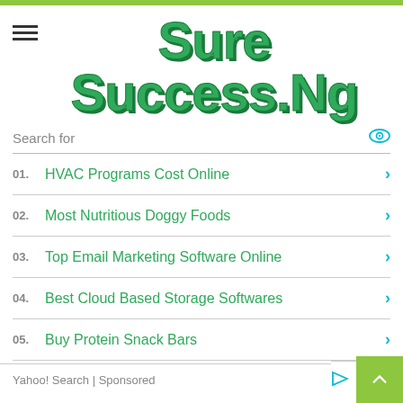[Figure (logo): SureSuccess.Ng website logo in large green bold text with dark outline]
Search for
01. HVAC Programs Cost Online
02. Most Nutritious Doggy Foods
03. Top Email Marketing Software Online
04. Best Cloud Based Storage Softwares
05. Buy Protein Snack Bars
Yahoo! Search | Sponsored